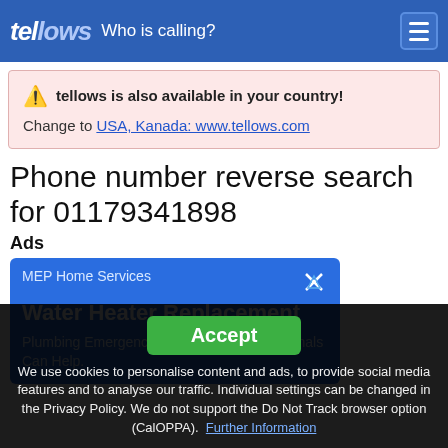tellows Who is calling?
tellows is also available in your country! Change to USA, Kanada: www.tellows.com
Phone number reverse search for 01179341898
Ads
[Figure (screenshot): Advertisement for MEP Home Services - Water Heater Replacement. Text: Plumbing Emergency? Our Skilled Professionals Can Help.]
Accept
We use cookies to personalise content and ads, to provide social media features and to analyse our traffic. Individual settings can be changed in the Privacy Policy. We do not support the Do Not Track browser option (CalOPPA). Further Information